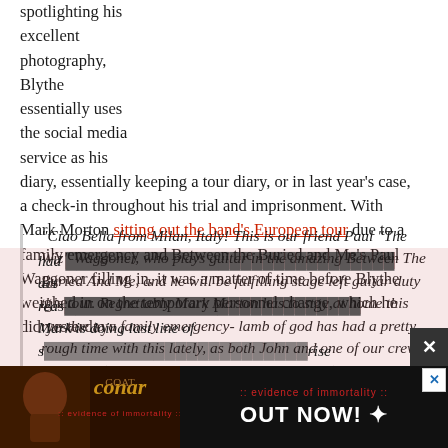spotlighting his excellent photography, Blythe essentially uses the social media service as his diary, essentially keeping a tour diary, or in last year's case, a check-in throughout his trial and imprisonment. With Mark Morton sitting out the band's European tour due to a family emergency and Between the Buried and Me's Paul Waggoner filling in, it was a matter of time before Blythe weighed in on the temporary personnel change, which he did yesterday:
“Ciao Bella from Milan, Italy! This is our friend Paul “The Wiz” Waggoner, who plays guitar in the amazing Between The Buried And Me, and he will be fulfilling stage left guitar duty this tour. Regrettably Mark Morton has to stay at home this run due to a family emergency- lamb of god has had a pretty rough time with this lately, as both John and one of our crew members (who might as well be band members) had [text partially obscured] ... act reas[on] ... Mark is doing last line of s [text partially obscured] ...rise
[Figure (other): Advertisement banner for Conan album 'Evidence of Immortality' - OUT NOW]